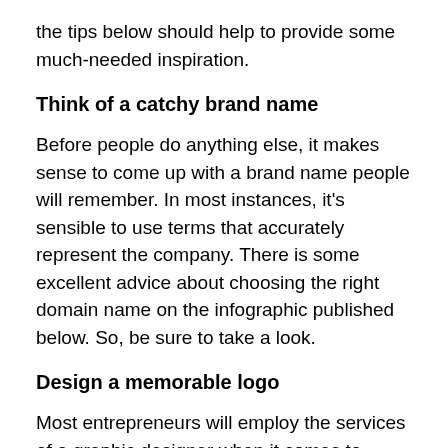the tips below should help to provide some much-needed inspiration.
Think of a catchy brand name
Before people do anything else, it makes sense to come up with a brand name people will remember. In most instances, it's sensible to use terms that accurately represent the company. There is some excellent advice about choosing the right domain name on the infographic published below. So, be sure to take a look.
Design a memorable logo
Most entrepreneurs will employ the services of a graphic designer when it comes to creating their logos. It's wise to perform a lot of research to ensure the business owner finds a specialist with the right skills